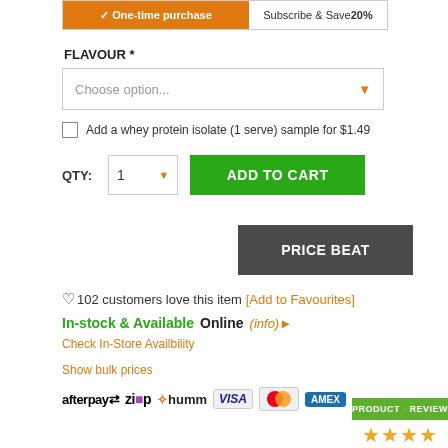[Figure (screenshot): Purchase toggle bar with 'One-time purchase' (orange active) and 'Subscribe & Save 20%' options]
FLAVOUR *
[Figure (screenshot): Dropdown select box with placeholder 'Choose option...' and orange arrow]
Add a whey protein isolate (1 serve) sample for $1.49
[Figure (screenshot): QTY selector showing 1 with orange dropdown arrow and green ADD TO CART button]
[Figure (screenshot): Dark grey PRICE BEAT button]
102 customers love this item [Add to Favourites]
In-stock & Available Online (info)▸
Check In-Store Availbility
Show bulk prices
[Figure (logo): Payment method logos: afterpay, ZIP, humm, VISA, Mastercard, American Express]
[Figure (logo): Product Review badge with green header and star rating]